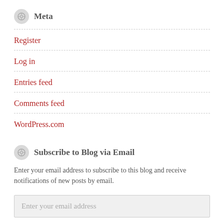Meta
Register
Log in
Entries feed
Comments feed
WordPress.com
Subscribe to Blog via Email
Enter your email address to subscribe to this blog and receive notifications of new posts by email.
Enter your email address